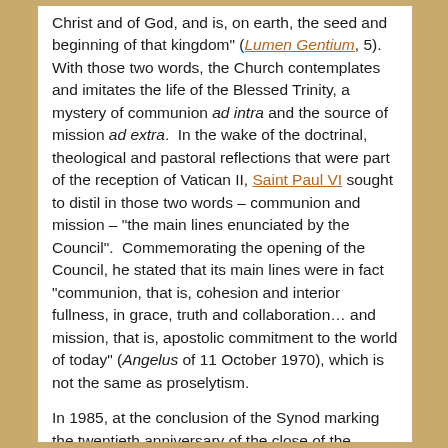Christ and of God, and is, on earth, the seed and beginning of that kingdom" (Lumen Gentium, 5). With those two words, the Church contemplates and imitates the life of the Blessed Trinity, a mystery of communion ad intra and the source of mission ad extra.  In the wake of the doctrinal, theological and pastoral reflections that were part of the reception of Vatican II, Saint Paul VI sought to distil in those two words – communion and mission – "the main lines enunciated by the Council".  Commemorating the opening of the Council, he stated that its main lines were in fact "communion, that is, cohesion and interior fullness, in grace, truth and collaboration… and mission, that is, apostolic commitment to the world of today" (Angelus of 11 October 1970), which is not the same as proselytism.

In 1985, at the conclusion of the Synod marking the twentieth anniversary of the close of the Council, Saint John Paul II also reiterated that the Church's nature is koinonia, which gives rise to her mission of serving as a sign of the human